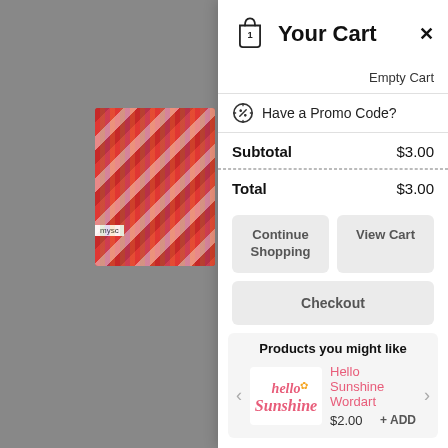[Figure (screenshot): Left panel showing gray background with partially visible product image (colorful chevron pattern wrapping paper/gift bag in red) and partial text 'BIG 3... LE...' and 'We use coo... relevant ex... repeat visit... of ALL the... ttings to...' with a shopping cart circle badge showing '1']
Your Cart
Empty Cart
Have a Promo Code?
| Subtotal | $3.00 |
| Total | $3.00 |
Continue Shopping
View Cart
Checkout
Products you might like
Hello Sunshine Wordart
$2.00
+ ADD